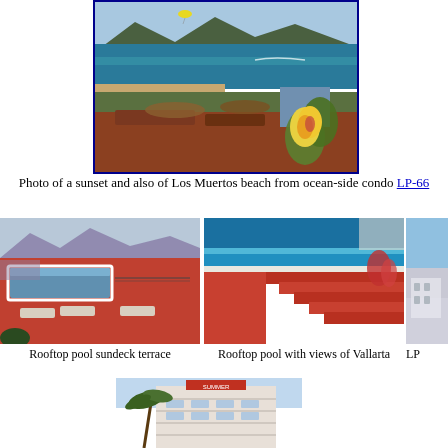[Figure (photo): Aerial view of Los Muertos beach with ocean, palm trees, buildings, and a yellow hibiscus flower in foreground]
Photo of a sunset and also of Los Muertos beach from ocean-side condo LP-66
[Figure (photo): Rooftop pool sundeck terrace with lounge chairs and red/terracotta flooring]
Rooftop pool sundeck terrace
[Figure (photo): Rooftop pool with views of Vallarta, showing red steps and blue pool water]
Rooftop pool with views of Vallarta
[Figure (photo): Partial photo — LP (cropped, building visible)]
LP
[Figure (photo): Exterior view of a white multi-story hotel or condo building with palm tree]